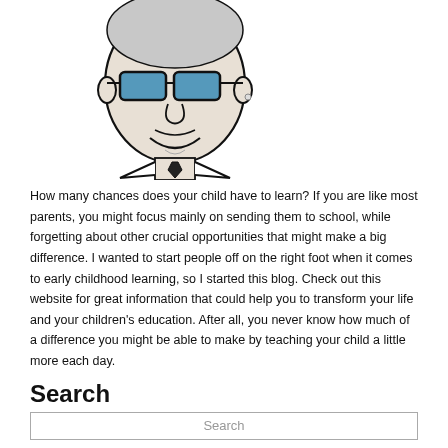[Figure (illustration): Line drawing illustration of an older man with gray hair wearing dark blue-tinted sunglasses, smiling, wearing a collared shirt and tie.]
How many chances does your child have to learn? If you are like most parents, you might focus mainly on sending them to school, while forgetting about other crucial opportunities that might make a big difference. I wanted to start people off on the right foot when it comes to early childhood learning, so I started this blog. Check out this website for great information that could help you to transform your life and your children's education. After all, you never know how much of a difference you might be able to make by teaching your child a little more each day.
Search